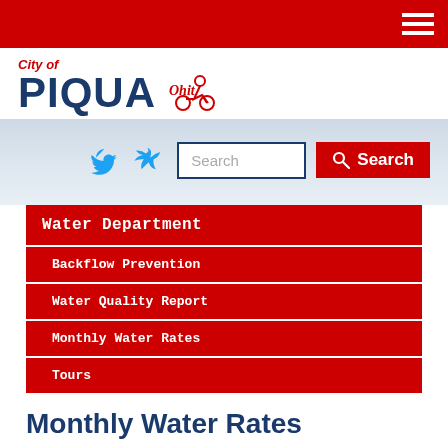City of Piqua – navigation header with hamburger menu
[Figure (logo): City of Piqua logo with cyclist icon in red]
[Figure (screenshot): Twitter bird icon and search bar with Search button]
Water Department
Backflow Prevention
Water Quality Report
Monthly Water Rates
Tours
Monthly Water Rates